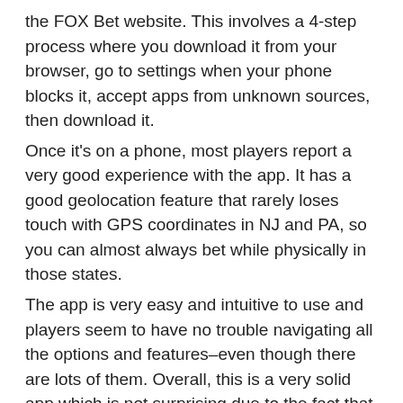the FOX Bet website. This involves a 4-step process where you download it from your browser, go to settings when your phone blocks it, accept apps from unknown sources, then download it.
Once it's on a phone, most players report a very good experience with the app. It has a good geolocation feature that rarely loses touch with GPS coordinates in NJ and PA, so you can almost always bet while physically in those states.
The app is very easy and intuitive to use and players seem to have no trouble navigating all the options and features–even though there are lots of them. Overall, this is a very solid app which is not surprising due to the fact that FOX and The Stars Group are involved.
FOX Bet Contact Information
Toll Free Customer Support Line: Not Available...